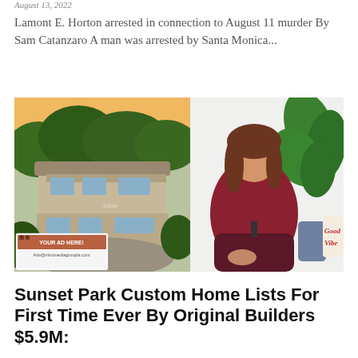August 13, 2022
Lamont E. Horton arrested in connection to August 11 murder By Sam Catanzaro A man was arrested by Santa Monica...
[Figure (photo): Composite image: aerial photo of a large two-story custom home surrounded by trees at sunset (left side), and a woman with auburn hair in a red wrap top seated in front of a plant and a 'Good Vibes' pillow (right side). An advertisement overlay in the bottom-left reads 'YOUR AD HERE! Ads@miromediagroupla.com'.]
Sunset Park Custom Home Lists For First Time Ever By Original Builders $5.9M: